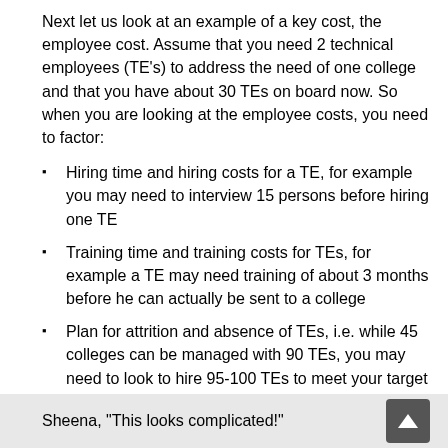Next let us look at an example of a key cost, the employee cost. Assume that you need 2 technical employees (TE's) to address the need of one college and that you have about 30 TEs on board now. So when you are looking at the employee costs, you need to factor:
Hiring time and hiring costs for a TE, for example you may need to interview 15 persons before hiring one TE
Training time and training costs for TEs, for example a TE may need training of about 3 months before he can actually be sent to a college
Plan for attrition and absence of TEs, i.e. while 45 colleges can be managed with 90 TEs, you may need to look to hire 95-100 TEs to meet your target sales
Sheena, "This looks complicated!"